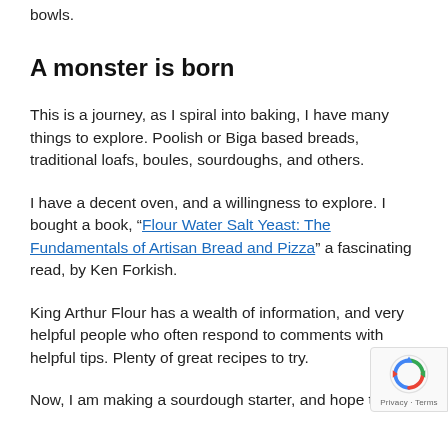bowls.
A monster is born
This is a journey, as I spiral into baking, I have many things to explore. Poolish or Biga based breads, traditional loafs, boules, sourdoughs, and others.
I have a decent oven, and a willingness to explore. I bought a book, “Flour Water Salt Yeast: The Fundamentals of Artisan Bread and Pizza” a fascinating read, by Ken Forkish.
King Arthur Flour has a wealth of information, and very helpful people who often respond to comments with helpful tips. Plenty of great recipes to try.
Now, I am making a sourdough starter, and hope to